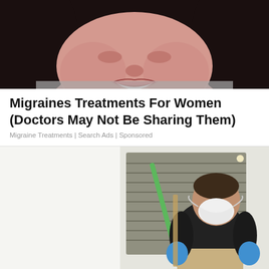[Figure (photo): Close-up photo of a woman's face, smiling, with dark curly hair, wearing a grey top]
Migraines Treatments For Women (Doctors May Not Be Sharing Them)
Migraine Treatments | Search Ads | Sponsored
[Figure (photo): A man wearing a black shirt, blue gloves, and a white respirator mask, crouching and working on an HVAC unit with a green tool, in a white room with HVAC equipment]
HVAC Repair Near Ashburn...